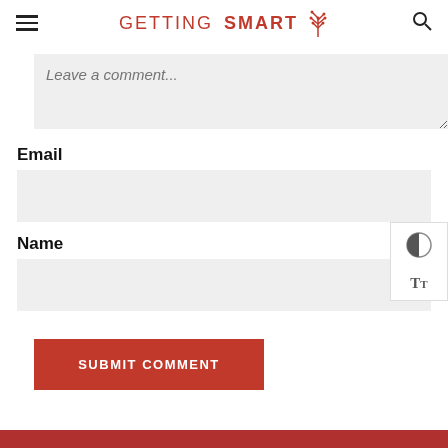GETTING SMART
Leave a comment...
Email
Name
SUBMIT COMMENT